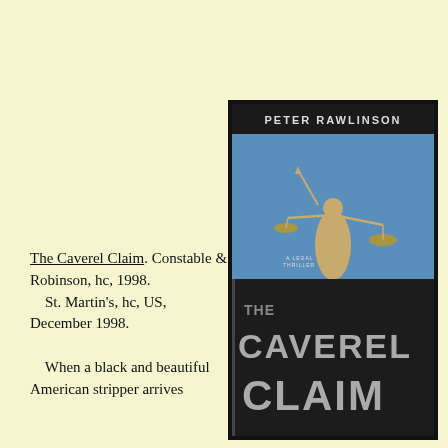The Caverel Claim. Constable & Robinson, hc, 1998.
    St. Martin's, hc, US, December 1998.

    When a black and beautiful American stripper arrives
[Figure (photo): Book cover of 'The Caverel Claim' by Peter Rawlinson. Dark cover with an image of the Lady Justice statue with scales, and large silver text reading 'THE CAVEREL CLAIM' at the bottom. Subtitle 'A Legal Thriller' appears in smaller text. Author name 'PETER RAWLINSON' at the top.]